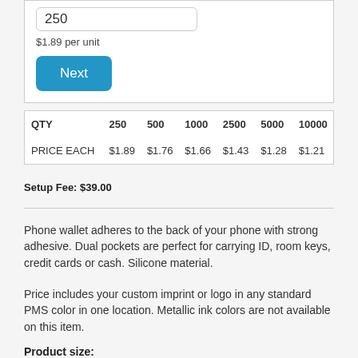250
$1.89 per unit
Next
| QTY | 250 | 500 | 1000 | 2500 | 5000 | 10000 |
| --- | --- | --- | --- | --- | --- | --- |
| PRICE EACH | $1.89 | $1.76 | $1.66 | $1.43 | $1.28 | $1.21 |
Setup Fee: $39.00
Phone wallet adheres to the back of your phone with strong adhesive. Dual pockets are perfect for carrying ID, room keys, credit cards or cash. Silicone material.
Price includes your custom imprint or logo in any standard PMS color in one location. Metallic ink colors are not available on this item.
Product size: